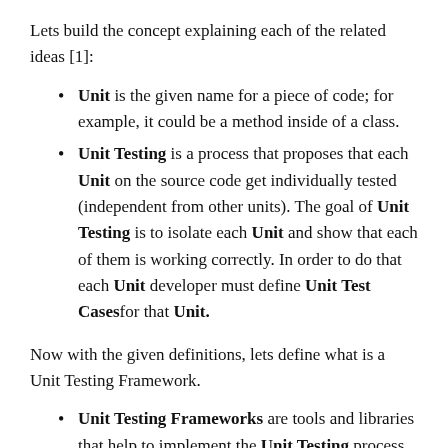Lets build the concept explaining each of the related ideas [1]:
Unit is the given name for a piece of code; for example, it could be a method inside of a class.
Unit Testing is a process that proposes that each Unit on the source code get individually tested (independent from other units). The goal of Unit Testing is to isolate each Unit and show that each of them is working correctly. In order to do that each Unit developer must define Unit Test Cases for that Unit.
Now with the given definitions, lets define what is a Unit Testing Framework.
Unit Testing Frameworks are tools and libraries that help to implement the Unit Testing process. There exists different Unit Testing Frameworks for